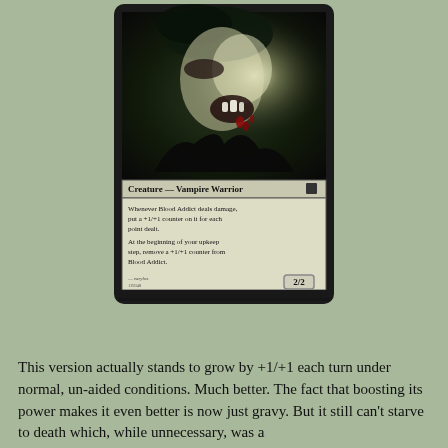[Figure (illustration): Magic: The Gathering card named 'Blood Addict'. Shows a vampire creature with dark hair, mouth open revealing fangs, blood visible, with a glowing light effect. Card type bar reads 'Creature — Vampire Warrior' with a black mana symbol. Card text: 'Whenever Blood Addict deals damage, put a +1/+1 counter on it for each point dealt. At the beginning of your upkeep step, remove a +1/+1 counter from Blood Addict.' Power/toughness: 2/2.]
This version actually stands to grow by +1/+1 each turn under normal, un-aided conditions. Much better. The fact that boosting its power makes it even better is now just gravy. But it still can't starve to death which, while unnecessary, was a